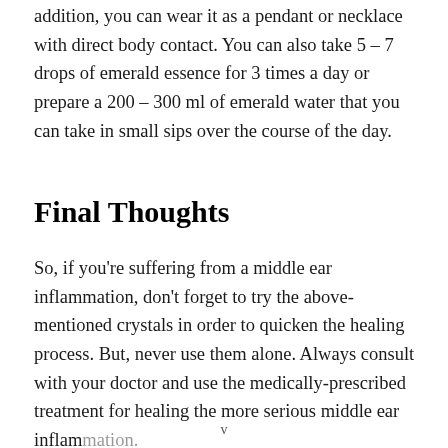addition, you can wear it as a pendant or necklace with direct body contact. You can also take 5 – 7 drops of emerald essence for 3 times a day or prepare a 200 – 300 ml of emerald water that you can take in small sips over the course of the day.
Final Thoughts
So, if you're suffering from a middle ear inflammation, don't forget to try the above-mentioned crystals in order to quicken the healing process. But, never use them alone. Always consult with your doctor and use the medically-prescribed treatment for healing the more serious middle ear inflammation.
v